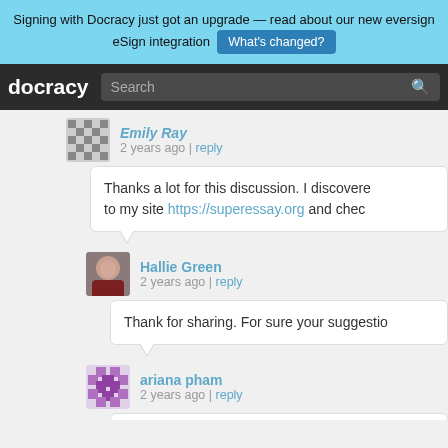Signing with Docracy just got an upgrade — read about our new eversign eSign integration  What's changed?
docracy  Search
Emily Ray
2 years ago | reply
Thanks a lot for this discussion. I discovered to my site https://superessay.org and chec
Hallie Green
2 years ago | reply
Thank for sharing. For sure your suggestio
ariana pham
2 years ago | reply
Greetings all, was simply thinking about w to explore, I'm doing it on the passionate i confidence. Would individuals fill in online appreciated all